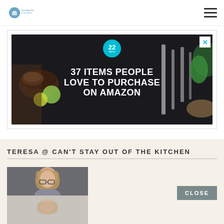Can't Stay Out of the Kitchen
[Figure (photo): Advertisement banner: '37 Items People Love to Purchase on Amazon' with badge showing '22' on dark background with kitchen knives and food items]
TERESA @ CAN'T STAY OUT OF THE KITCHEN
[Figure (photo): Author photo of Teresa, a woman with glasses and shoulder-length hair, on gray background]